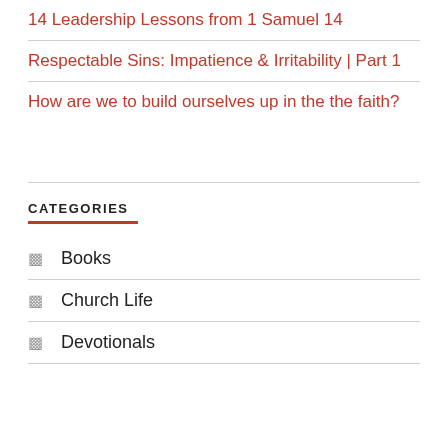14 Leadership Lessons from 1 Samuel 14
Respectable Sins: Impatience & Irritability | Part 1
How are we to build ourselves up in the the faith?
CATEGORIES
Books
Church Life
Devotionals